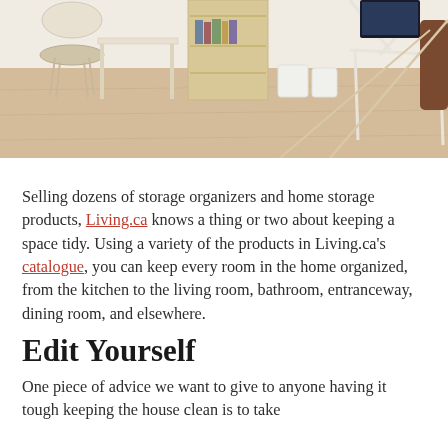[Figure (photo): Interior room with hardwood flooring showing white French-style vanity chair and desk on the left, a wooden shelving unit in the middle with books, and a white geometric desk frame on the right with a monitor, plus a white storage container on the floor.]
Selling dozens of storage organizers and home storage products, Living.ca knows a thing or two about keeping a space tidy. Using a variety of the products in Living.ca's catalogue, you can keep every room in the home organized, from the kitchen to the living room, bathroom, entranceway, dining room, and elsewhere.
Edit Yourself
One piece of advice we want to give to anyone having it tough keeping the house clean is to take